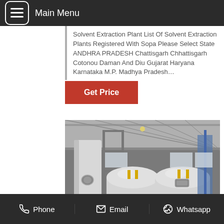Main Menu
Solvent Extraction Plant List Of Solvent Extraction Plants Registered With Sopa Please Select State ANDHRA PRADESH Chattisgarh Chhattisgarh Cotonou Daman And Diu Gujarat Haryana Karnataka M.P. Madhya Pradesh…
Get Price
[Figure (photo): Industrial solvent extraction plant interior showing large white pressure vessels/tanks with yellow fittings and support structures inside a warehouse facility.]
Phone  Email  Whatsapp